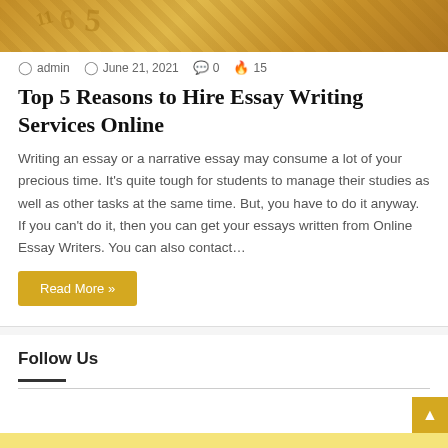[Figure (photo): Decorative golden/yellow background banner image with numbers visible]
admin  June 21, 2021  0  15
Top 5 Reasons to Hire Essay Writing Services Online
Writing an essay or a narrative essay may consume a lot of your precious time. It's quite tough for students to manage their studies as well as other tasks at the same time. But, you have to do it anyway. If you can't do it, then you can get your essays written from Online Essay Writers. You can also contact…
Read More »
Follow Us
Go to the Arqam options page to set your social accounts.